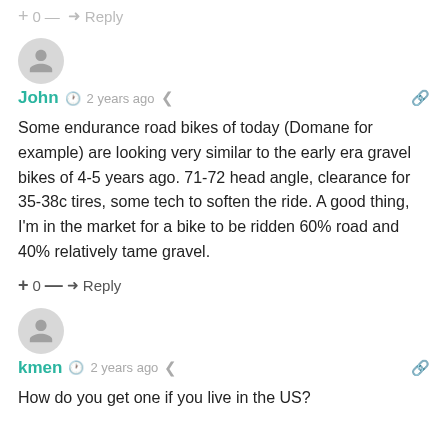+ 0 — ➜ Reply
[Figure (illustration): Gray circular avatar icon for user John]
John  🕐 2 years ago  🔗
Some endurance road bikes of today (Domane for example) are looking very similar to the early era gravel bikes of 4-5 years ago. 71-72 head angle, clearance for 35-38c tires, some tech to soften the ride. A good thing, I'm in the market for a bike to be ridden 60% road and 40% relatively tame gravel.
+ 0 — ➜ Reply
[Figure (illustration): Gray circular avatar icon for user kmen]
kmen  🕐 2 years ago  🔗
How do you get one if you live in the US?